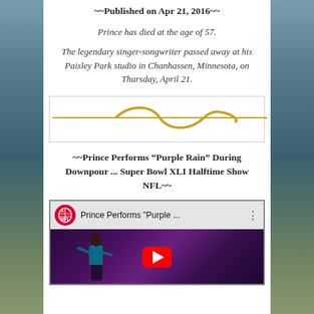~~Published on Apr 21, 2016~~
Prince has died at the age of 57.
The legendary singer-songwriter passed away at his Paisley Park studio in Chanhassen, Minnesota, on Thursday, April 21.
[Figure (illustration): Decorative golden wave divider line]
~~Prince Performs “Purple Rain” During Downpour ... Super Bowl XLI Halftime Show NFL~~
[Figure (screenshot): YouTube video thumbnail showing Prince performing at Super Bowl XLI Halftime Show with NFL logo]